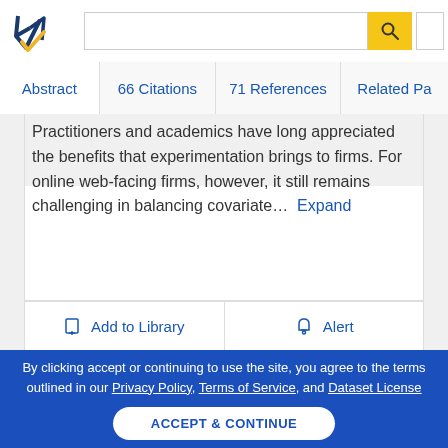[Figure (logo): Semantic Scholar logo — dark blue stylized book/arrow mark with gold checkmark]
Abstract | 66 Citations | 71 References | Related Pa...
Practitioners and academics have long appreciated the benefits that experimentation brings to firms. For online web-facing firms, however, it still remains challenging in balancing covariate... Expand
Add to Library   Alert
By clicking accept or continuing to use the site, you agree to the terms outlined in our Privacy Policy, Terms of Service, and Dataset License
ACCEPT & CONTINUE